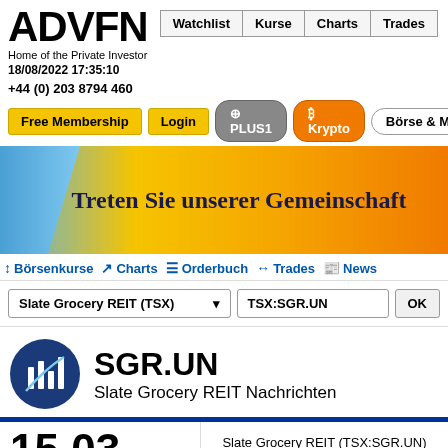[Figure (logo): ADVFN logo with tagline 'Home of the Private Investor' and date 18/08/2022 17:35:10]
Watchlist | Kurse | Charts | Trades
+44 (0) 203 8794 460
Free Membership   Login   PLUS1   B Krypto   Börse & Märkt
[Figure (illustration): Banner with text 'Treten Sie unserer Gemeinschaft bei' on orange/gold gradient background with blue section on left]
↕ Börsenkurse   ↗ Charts   ≡ Orderbuch   ↔ Trades   📰 News
Slate Grocery REIT (TSX)   TSX:SGR.UN   OK
SGR.UN
Slate Grocery REIT Nachrichten
15.03
Slate Grocery REIT (TSX:SGR.UN)
Intraday Stock Chart